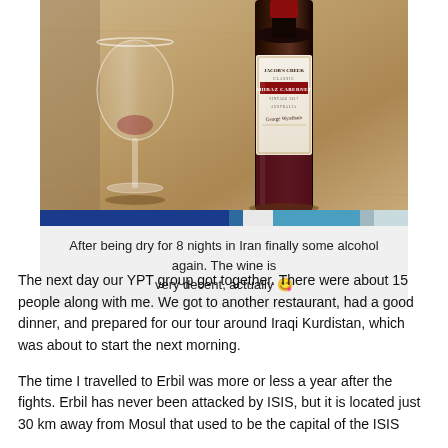[Figure (photo): Photo of a Jacob's Creek Classic Shiraz Cabernet wine bottle next to an empty wine glass on a table with a beige/grey textured surface]
After being dry for 8 nights in Iran finally some alcohol again. The wine is very decent, actually 😉
The next day our YPT group got together. There were about 15 people along with me. We got to another restaurant, had a good dinner, and prepared for our tour around Iraqi Kurdistan, which was about to start the next morning.
The time I travelled to Erbil was more or less a year after the fights. Erbil has never been attacked by ISIS, but it is located just 30 km away from Mosul that used to be the capital of the ISIS